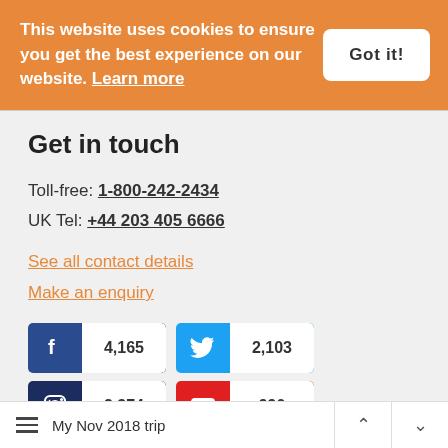This website uses cookies to ensure you get the best experience on our website. Learn more
Got it!
Get in touch
Toll-free: 1-800-242-2434
UK Tel: +44 203 405 6666
See all contact details
Make an enquiry
[Figure (infographic): Social media buttons: Facebook 4,165 followers, Twitter 2,103 followers, Instagram 2,374 followers, YouTube 990 subscribers]
My Nov 2018 trip